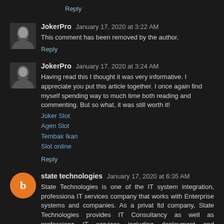Reply
JokerPro  January 17, 2020 at 3:22 AM
This comment has been removed by the author.
Reply
JokerPro  January 17, 2020 at 3:24 AM
Having read this I thought it was very informative. I appreciate you put this article together. I once again find myself spending way to much time both reading and commenting. But so what, it was still worth it!
Joker Slot
Agen Slot
Tembak Ikan
Slot online
Reply
state technologies  January 17, 2020 at 6:35 AM
State Technologies is one of the IT system integration, professional IT services company that works with Enterprise systems and companies. As a private ltd company, State Technologies provides IT Consultancy as well as professional IT services including deployment and maintenance in various verticals.